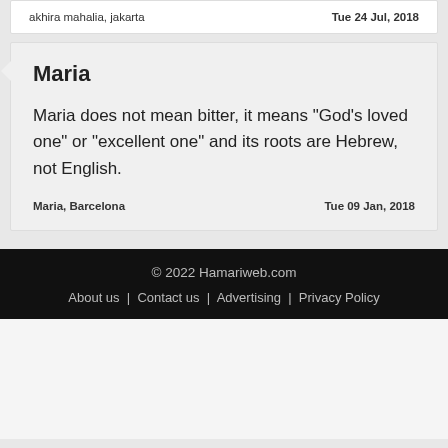akhira mahalia, jakarta                                      Tue 24 Jul, 2018
Maria
Maria does not mean bitter, it means "God's loved one" or "excellent one" and its roots are Hebrew, not English.
Maria, Barcelona                               Tue 09 Jan, 2018
© 2022 Hamariweb.com  About us | Contact us | Advertising | Privacy Policy